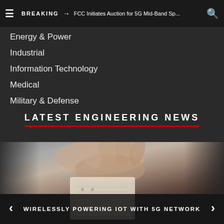BREAKING → FCC Initiates Auction for 5G Mid-Band Sp...
Energy & Power
Industrial
Information Technology
Medical
Military & Defense
LATEST ENGINEERING NEWS
[Figure (photo): Close-up of a hand holding a small electronic card/PCB, representing wireless IoT technology]
WIRELESSLY POWERING IOT WITH 5G NETWORK